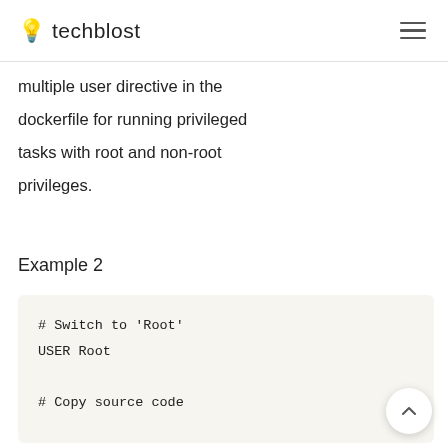💡 techblost
multiple user directive in the dockerfile for running privileged tasks with root and non-root privileges.
Example 2
[Figure (screenshot): Code block with light beige background showing Dockerfile snippet: # Switch to 'Root', USER Root, # Copy source code]